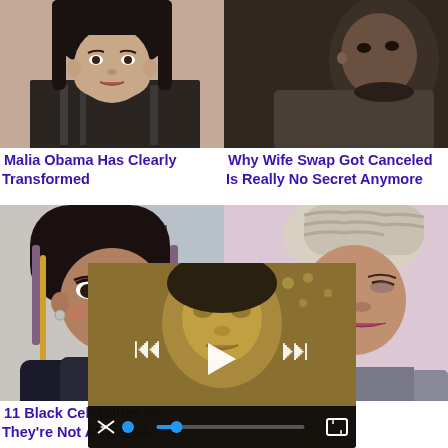[Figure (photo): Photo of woman (Malia Obama) cropped at shoulders, top portion visible]
Malia Obama Has Clearly Transformed
[Figure (photo): Dark photo of a man, close up, cropped]
Why Wife Swap Got Canceled Is Really No Secret Anymore
[Figure (photo): Photo of Raven-Symoné smiling with red lipstick at an event]
11 Black Celebrities W... They're Not African-A...
[Figure (photo): Photo of Eva Marcille with blonde hair on a TV show set]
[Figure (screenshot): Video player overlay showing a woman's face with playback controls: skip-back, play, skip-forward, mute, progress bar with blue dot, fullscreen button]